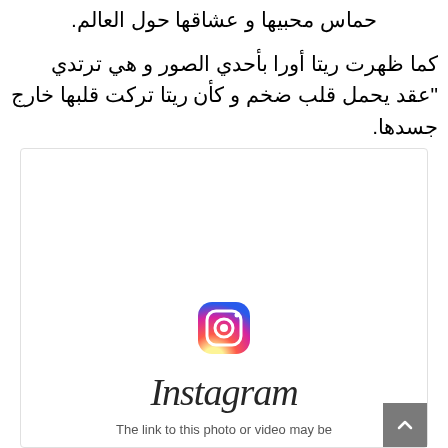حماس محبيها و عشاقها حول العالم.
كما ظهرت ريتا أورا بأحدي الصور و هي ترتدي "عقد يحمل قلب ضخم و كأن ريتا تركت قلبها خارج جسدها.
[Figure (screenshot): Instagram embed placeholder showing the Instagram logo icon and wordmark with the text 'The link to this photo or video may be']